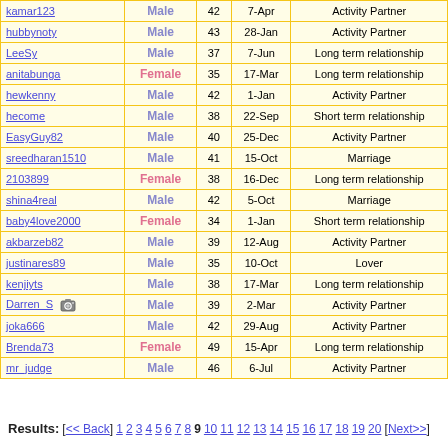| Username | Gender | Age | Date | Looking for |
| --- | --- | --- | --- | --- |
| kamar123 | Male | 42 | 7-Apr | Activity Partner |
| hubbynoty | Male | 43 | 28-Jan | Activity Partner |
| LeeSy | Male | 37 | 7-Jun | Long term relationship |
| anitabunga | Female | 35 | 17-Mar | Long term relationship |
| hewkenny | Male | 42 | 1-Jan | Activity Partner |
| hecome | Male | 38 | 22-Sep | Short term relationship |
| EasyGuy82 | Male | 40 | 25-Dec | Activity Partner |
| sreedharan1510 | Male | 41 | 15-Oct | Marriage |
| 2103899 | Female | 38 | 16-Dec | Long term relationship |
| shina4real | Male | 42 | 5-Oct | Marriage |
| baby4love2000 | Female | 34 | 1-Jan | Short term relationship |
| akbarzeb82 | Male | 39 | 12-Aug | Activity Partner |
| justinares89 | Male | 35 | 10-Oct | Lover |
| kenjiyts | Male | 38 | 17-Mar | Long term relationship |
| Darren_S | Male | 39 | 2-Mar | Activity Partner |
| joka666 | Male | 42 | 29-Aug | Activity Partner |
| Brenda73 | Female | 49 | 15-Apr | Long term relationship |
| mr_judge | Male | 46 | 6-Jul | Activity Partner |
Results: [<< Back] 1 2 3 4 5 6 7 8 9 10 11 12 13 14 15 16 17 18 19 20 [Next>>]